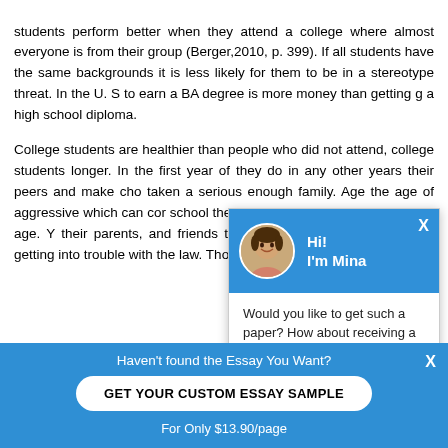students perform better when they attend a college where almost everyone is from their group (Berger,2010, p. 399). If all students have the same backgrounds it is less likely for them to be in a stereotype threat. In the U. S to earn a BA degree is more money than getting g a high school diploma.
College students are healthier than people who did not attend, college students longer. In the first year of they do in any other years their peers and make cho taken a serious enough family. Age the age of aggressive which can cor school they can be stable to the young adult age. Y their parents, and friends their jobs, by the age themselves getting into trouble with the law. Those wh
[Figure (screenshot): Chat popup with avatar of a woman named Mina, blue header, message asking 'Would you like to get such a paper? How about receiving a customized one?' with a 'Check it out' link]
Haven't found the Essay You Want?
GET YOUR CUSTOM ESSAY SAMPLE
For Only $13.90/page